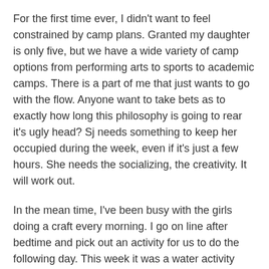For the first time ever, I didn't want to feel constrained by camp plans. Granted my daughter is only five, but we have a wide variety of camp options from performing arts to sports to academic camps. There is a part of me that just wants to go with the flow. Anyone want to take bets as to exactly how long this philosophy is going to rear it's ugly head? Sj needs something to keep her occupied during the week, even if it's just a few hours. She needs the socializing, the creativity. It will work out.
In the mean time, I've been busy with the girls doing a craft every morning. I go on line after bedtime and pick out an activity for us to do the following day. This week it was a water activity (yeah pouring and spilling!) and Oobleck. Making Oobleck always takes me back to my teaching days. I enjoy it just as much as the girls. Well except for the washing the floors for the second time in 24 hours. The corn starch tends to make a mess.